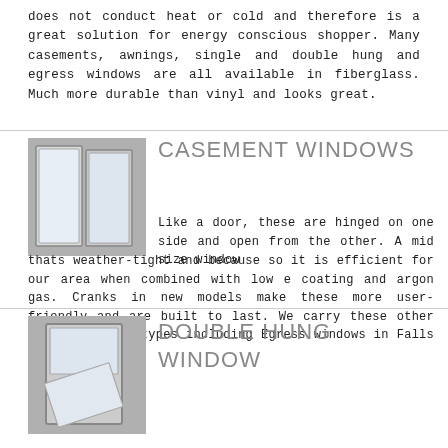does not conduct heat or cold and therefore is a great solution for energy conscious shopper. Many casements, awnings, single and double hung and egress windows are all available in fiberglass. Much more durable than vinyl and looks great.
[Figure (illustration): Two white casement windows side by side on grey background]
CASEMENT WINDOWS
Like a door, these are hinged on one side and open from the other. A mid size window thats weather-tight and because so it is efficient for our area when combined with low e coating and argon gas. Cranks in new models make these more user-friendly and are built to last. We carry these other popular window types including Egress windows in Falls Village CT.
[Figure (illustration): White double hung window open on grey background]
DOUBLE HUNG WINDOW